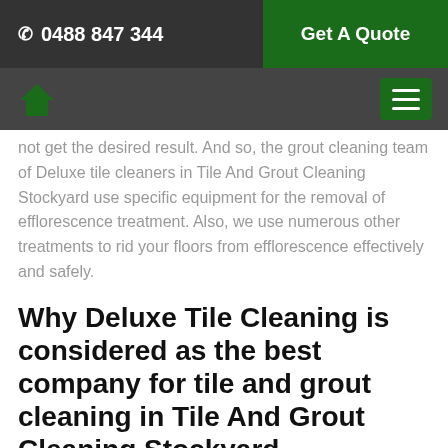☎ 0488 847 344 | Get A Quote
cleaning team of Deluxe tile cleaners in Tile And Grout Cleaning Stockyard use specific equipment for the removal of efflorescence treatment. Also, we use numerous other treatments to rid your floors from efflorescence effectively and safely.
Why Deluxe Tile Cleaning is considered as the best company for tile and grout cleaning in Tile And Grout Cleaning Stockyard